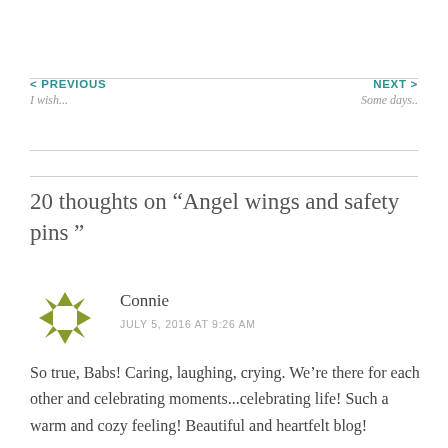< PREVIOUS
I wish...
NEXT >
Some days..
20 thoughts on “Angel wings and safety pins ”
[Figure (illustration): Decorative star/snowflake avatar icon in olive/yellow-green color]
Connie
JULY 5, 2016 AT 9:26 AM
So true, Babs! Caring, laughing, crying. We’re there for each other and celebrating moments...celebrating life! Such a warm and cozy feeling! Beautiful and heartfelt blog!